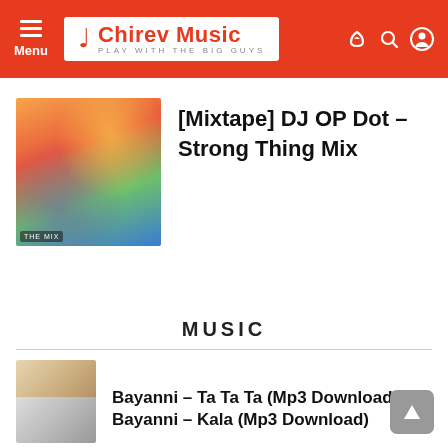Menu | Chirev Music — PLAY WITH THE BIG GUYS
[Mixtape] DJ OP Dot – Strong Thing Mix
MUSIC
Bayanni – Ta Ta Ta (Mp3 Download)
Bayanni – Kala (Mp3 Download)